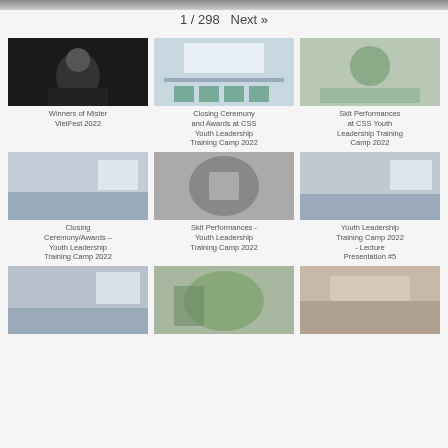1 / 298  Next »
[Figure (photo): Thumbnail: Winners of Mister VietFest 2022]
Winners of Mister VietFest 2022
[Figure (photo): Thumbnail: Closing Ceremony and Awards at CSS Youth Leadership Training Camp 2022]
Closing Ceremony and Awards at CSS Youth Leadership Training Camp 2022
[Figure (photo): Thumbnail: Skit Performances at CSS Youth Leadership Training Camp 2022]
Skit Performances at CSS Youth Leadership Training Camp 2022
[Figure (photo): Thumbnail: Closing Ceremony/Awards – Youth Leadership Training Camp 2022]
Closing Ceremony/Awards – Youth Leadership Training Camp 2022
[Figure (photo): Thumbnail: Skit Performances - Youth Leadership Training Camp 2022]
Skit Performances - Youth Leadership Training Camp 2022
[Figure (photo): Thumbnail: Youth Leadership Training Camp 2022 - Lecture Presentation #5]
Youth Leadership Training Camp 2022 - Lecture Presentation #5
[Figure (photo): Thumbnail: bottom-left partial image]
[Figure (photo): Thumbnail: bottom-center partial image]
[Figure (photo): Thumbnail: bottom-right partial image]